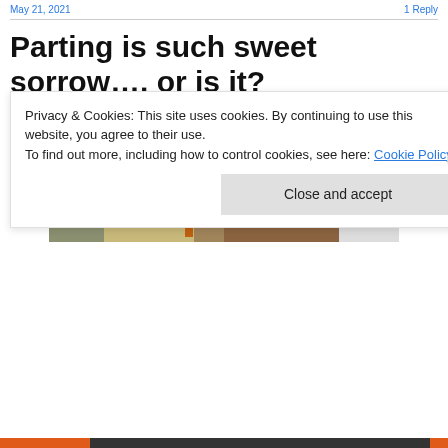May 21, 2021 ... 1 Reply
Parting is such sweet sorrow…. or is it?
[Figure (photo): Two interior home photos side by side: left shows a wooden staircase with white balusters in a home foyer; right shows a living room with a red/maroon sofa, lamp, and white brick fireplace.]
Privacy & Cookies: This site uses cookies. By continuing to use this website, you agree to their use.
To find out more, including how to control cookies, see here: Cookie Policy